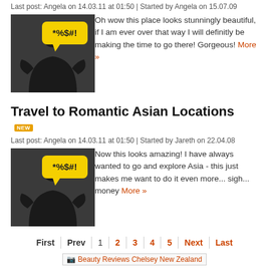Last post: Angela on 14.03.11 at 01:50 | Started by Angela on 15.07.09
[Figure (illustration): Silhouette of a person with a yellow speech bubble containing *%$#!]
Oh wow this place looks stunningly beautiful, if I am ever over that way I will definitly be making the time to go there! Gorgeous! More »
Travel to Romantic Asian Locations [NEW]
Last post: Angela on 14.03.11 at 01:50 | Started by Jareth on 22.04.08
[Figure (illustration): Silhouette of a person with a yellow speech bubble containing *%$#!]
Now this looks amazing! I have always wanted to go and explore Asia - this just makes me want to do it even more... sigh... money More »
First | Prev | 1 | 2 | 3 | 4 | 5 | Next | Last
[Figure (other): Beauty Reviews Chelsey New Zealand banner/image link]
Latest discussions